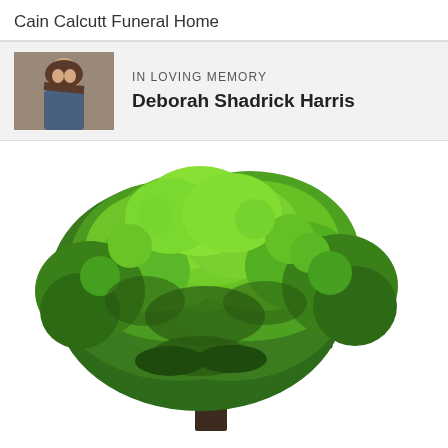Cain Calcutt Funeral Home
IN LOVING MEMORY
Deborah Shadrick Harris
[Figure (photo): A large deciduous tree with a full green canopy photographed against a white background, showing the trunk and spreading branches]